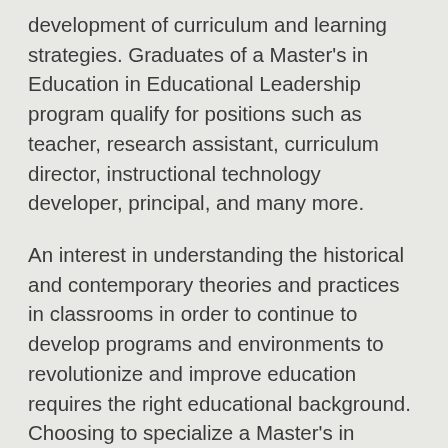development of curriculum and learning strategies. Graduates of a Master's in Education in Educational Leadership program qualify for positions such as teacher, research assistant, curriculum director, instructional technology developer, principal, and many more.
An interest in understanding the historical and contemporary theories and practices in classrooms in order to continue to develop programs and environments to revolutionize and improve education requires the right educational background. Choosing to specialize a Master's in Education in Educational Theory degree is often a way to begin to explore positions to make these changes in education at all levels.